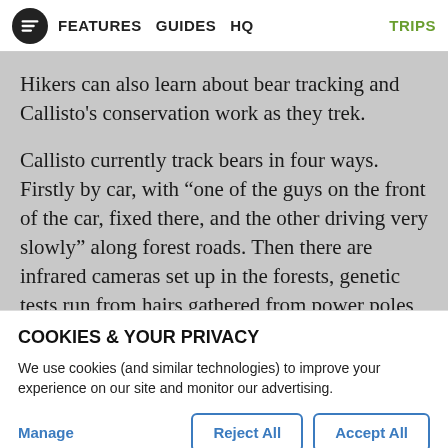FEATURES  GUIDES  HQ  TRIPS
Hikers can also learn about bear tracking and Callisto's conservation work as they trek.
Callisto currently track bears in four ways. Firstly by car, with “one of the guys on the front of the car, fixed there, and the other driving very slowly” along forest roads. Then there are infrared cameras set up in the forests, genetic tests run from hairs gathered from power poles – “bears love to mark them, particularly
COOKIES & YOUR PRIVACY
We use cookies (and similar technologies) to improve your experience on our site and monitor our advertising.
Manage  Reject All  Accept All